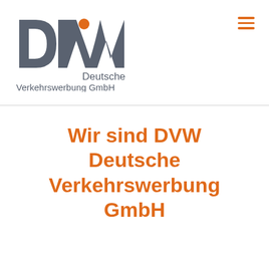[Figure (logo): DVW Deutsche Verkehrswerbung GmbH logo with stylized DVW letters in dark grey and an orange dot accent, with company name text below]
Wir sind DVW Deutsche Verkehrswerbung GmbH